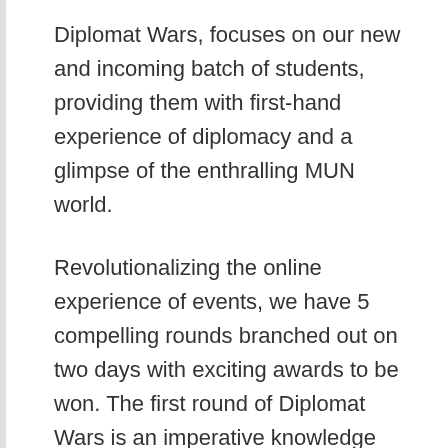Diplomat Wars, focuses on our new and incoming batch of students, providing them with first-hand experience of diplomacy and a glimpse of the enthralling MUN world.
Revolutionalizing the online experience of events, we have 5 compelling rounds branched out on two days with exciting awards to be won. The first round of Diplomat Wars is an imperative knowledge testing quiz that screens out a true diplomat, followed by a riveting intra-team debate, problem-solving round, crisis simulation and ultimately, the captivating air crash for the finale.
This event is an ideal platform for individuals to showcase their qualities while broadening their